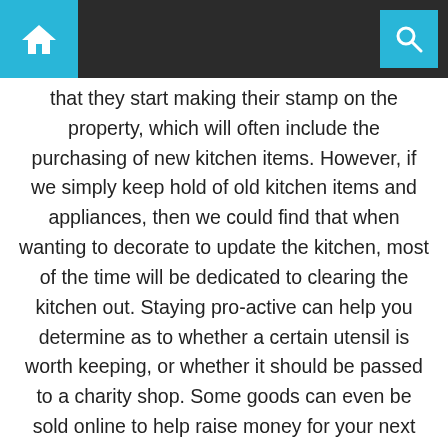Navigation bar with home and search icons
that they start making their stamp on the property, which will often include the purchasing of new kitchen items. However, if we simply keep hold of old kitchen items and appliances, then we could find that when wanting to decorate to update the kitchen, most of the time will be dedicated to clearing the kitchen out. Staying pro-active can help you determine as to whether a certain utensil is worth keeping, or whether it should be passed to a charity shop. Some goods can even be sold online to help raise money for your next home makeover. Smart Storage Can Make All the Difference Depending on the size of the property you reside in, storage may be somewhat restricted. With no storage solution in place, it should come as no surprise that clutter is inevitable. Fortunately, smart storage offers the practicality of